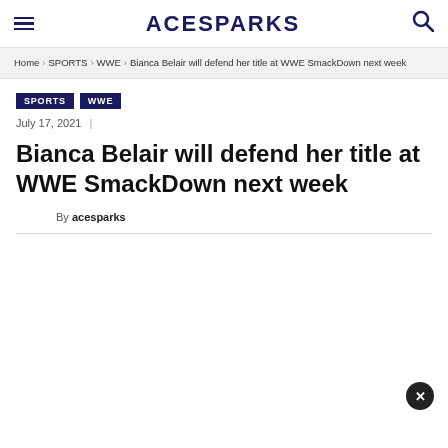ACESPARKS
Home › SPORTS › WWE › Bianca Belair will defend her title at WWE SmackDown next week
SPORTS WWE
July 17, 2021 |
Bianca Belair will defend her title at WWE SmackDown next week
By acesparks